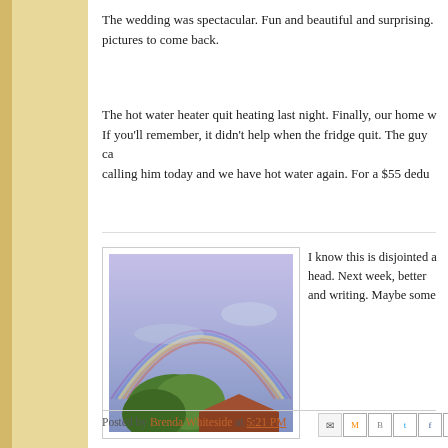The wedding was spectacular. Fun and beautiful and surprising. pictures to come back.
The hot water heater quit heating last night. Finally, our home w... If you'll remember, it didn't help when the fridge quit. The guy ca... calling him today and we have hot water again. For a $55 dedu...
[Figure (photo): Photo of a rainbow arching over a blue-purple sky with green trees and a rooftop visible at the bottom.]
I know this is disjointed a... head. Next week, better and writing. Maybe some...
Posted by Brenda Whiteside at 5:21 PM
Labels: alternative lifestyle, brenda whiteside, country life, Discover Yoursel... retirement, romance blog, write